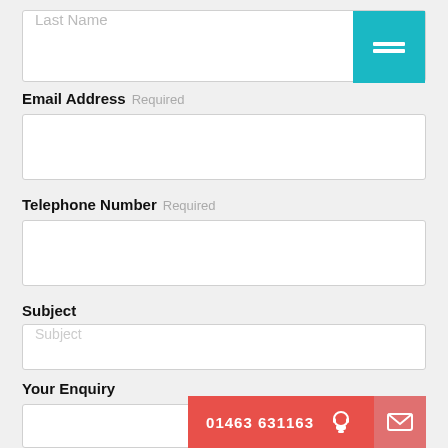Last Name (input field)
[Figure (other): Teal/cyan submit button in top-right corner]
Email Address Required
Telephone Number Required
Subject
Subject (input placeholder)
Your Enquiry
01463 631163 (contact bar with phone icon and email icon)